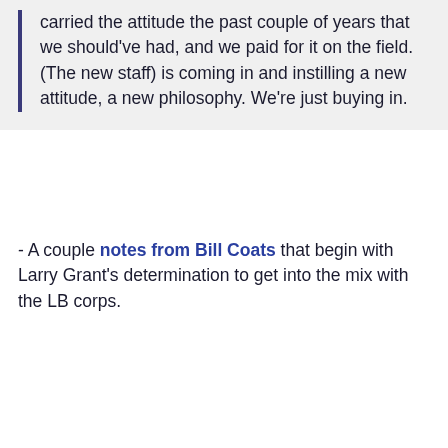carried the attitude the past couple of years that we should've had, and we paid for it on the field. (The new staff) is coming in and instilling a new attitude, a new philosophy. We're just buying in.
- A couple notes from Bill Coats that begin with Larry Grant's determination to get into the mix with the LB corps.